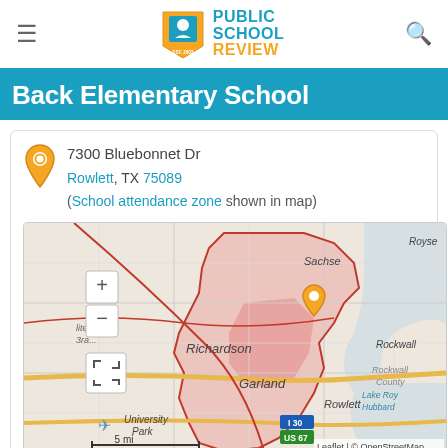Public School Review — EST. 2003
Back Elementary School
7300 Bluebonnet Dr
Rowlett, TX 75089
(School attendance zone shown in map)
[Figure (map): Interactive map showing school attendance zone for Back Elementary School in Rowlett, TX. Highlighted region covers Garland, Rowlett, and surrounding areas. Map shows Sachse, Richardson, Garland, Rowlett, Rockwall, Lake Roy Hubbard, Rockwall County, University Park. Scale bar shows 5 mi. Attribution: Leaflet | © OpenStreetMap]
> View full size  > Get directions